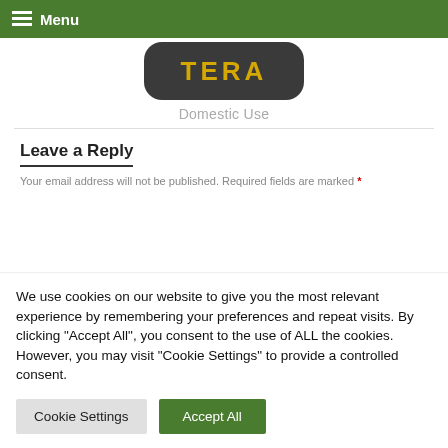Menu
[Figure (photo): Product image (partially visible) with text 'TERA' in yellow on dark background]
Domestic Use
Leave a Reply
Your email address will not be published. Required fields are marked *
We use cookies on our website to give you the most relevant experience by remembering your preferences and repeat visits. By clicking “Accept All”, you consent to the use of ALL the cookies. However, you may visit "Cookie Settings" to provide a controlled consent.